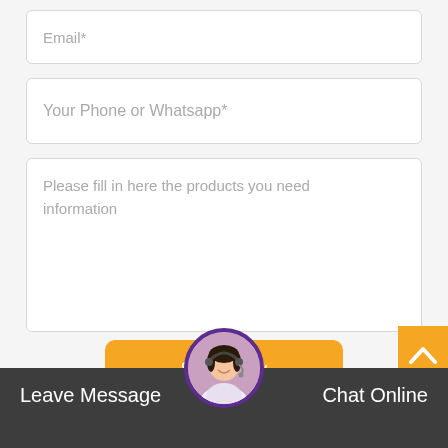[Figure (screenshot): Web contact form with Email field, Your Phone or Whatsapp field, a large textarea for product information, a Send Now button, a scroll-to-top arrow button, and a bottom bar with Leave Message and Chat Online labels and a customer service avatar.]
Email*
Your Phone or Whatsapp*
Please fill in here the products you need information
Send Now
Leave Message
Chat Online